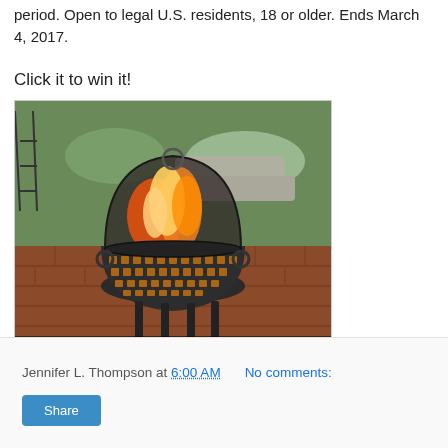period. Open to legal U.S. residents, 18 or older. Ends March 4, 2017.
Click it to win it!
[Figure (photo): A dark metal fire pit with square cutout pattern on outdoor brick patio, with flames visible inside the dome-shaped grill cover, surrounded by garden. Text overlay reads: 'no purchase necessary - click for official rules']
Jennifer L. Thompson at 6:00 AM    No comments:
Share